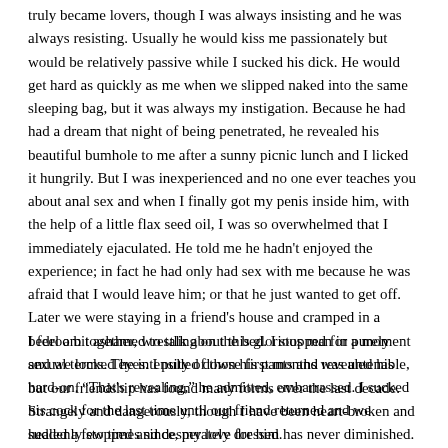truly became lovers, though I was always insisting and he was always resisting. Usually he would kiss me passionately but would be relatively passive while I sucked his dick. He would get hard as quickly as me when we slipped naked into the same sleeping bag, but it was always my instigation. Because he had had a dream that night of being penetrated, he revealed his beautiful bumhole to me after a sunny picnic lunch and I licked it hungrily. But I was inexperienced and no one ever teaches you about anal sex and when I finally got my penis inside him, with the help of a little flax seed oil, I was so overwhelmed that I immediately ejaculated. He told me he hadn't enjoyed the experience; in fact he had only had sex with me because he was afraid that I would leave him; or that he just wanted to get off. Later we were staying in a friend's house and cramped in a bedroom together, wrestling on the bed. I stopped for a moment and we locked eyes. I pulled down his pants and revealed his hard-on. “That's revealing,” he admitted, embarrassed. I sucked his cock for the last time until our friend returned and we suddenly stopped and desperately dressed.
I feel a bit ashamed to talk about this glorious man in purely sexual terms. The intensity of those first months was untenable, but our friendship has found many forms over the last decade. Strangely and dangerously, though I have been heart-broken and healed a few times since, my love for him has never diminished. He told me that my pressure for sexual connection in those early months had an